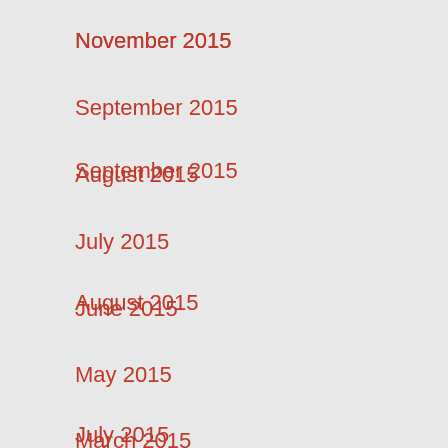November 2015
September 2015
August 2015
July 2015
June 2015
May 2015
March 2015
January 2015